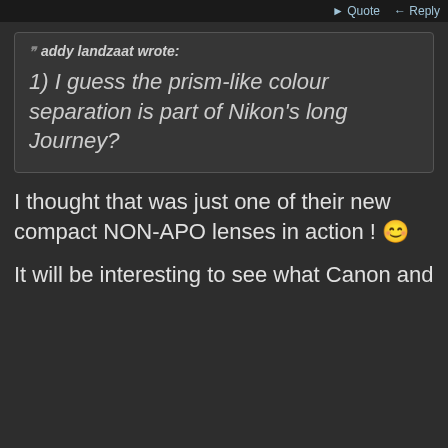Quote  Reply
addy landzaat wrote:

1) I guess the prism-like colour separation is part of Nikon's long Journey?
I thought that was just one of their new compact NON-APO lenses in action ! 😊
It will be interesting to see what Canon and